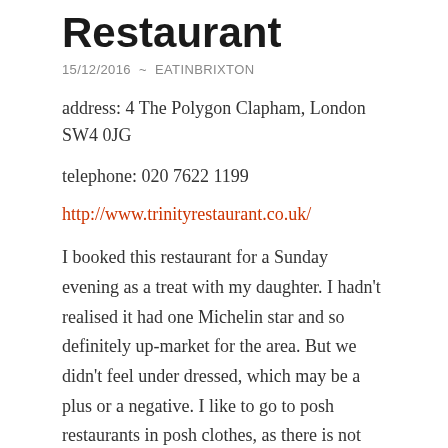Restaurant
15/12/2016 ~ EATINBRIXTON
address: 4 The Polygon Clapham, London SW4 0JG
telephone: 020 7622 1199
http://www.trinityrestaurant.co.uk/
I booked this restaurant for a Sunday evening as a treat with my daughter. I hadn't realised it had one Michelin star and so definitely up-market for the area. But we didn't feel under dressed, which may be a plus or a negative. I like to go to posh restaurants in posh clothes, as there is not much opportunity for dressing up these days, but most other diners here